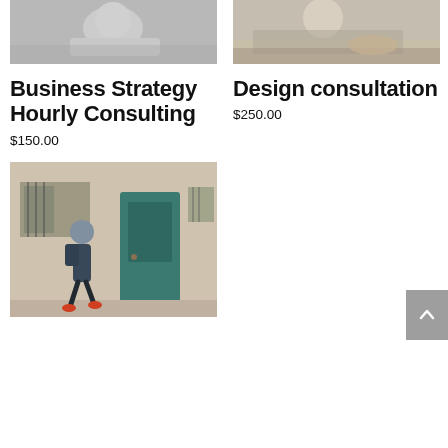[Figure (photo): Black and white photo of a woman smiling, lying down]
[Figure (photo): Color photo of a woman writing, wearing a patterned jacket]
Business Strategy Hourly Consulting
$150.00
Design consultation
$250.00
[Figure (photo): Color photo of a woman walking on a street near a teal door, carrying a backpack]